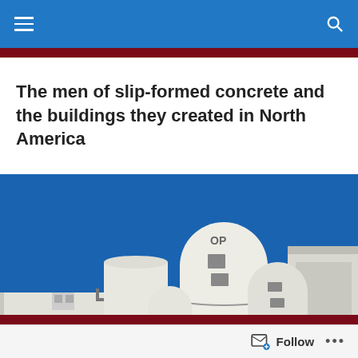Navigation menu and search
The men of slip-formed concrete and the buildings they created in North America
[Figure (photo): White concrete grain silos and elevator buildings against a bright blue sky, with 'CO OP' text visible on one structure]
MONTHLY ARCHIVES: JANUARY 2016
Follow